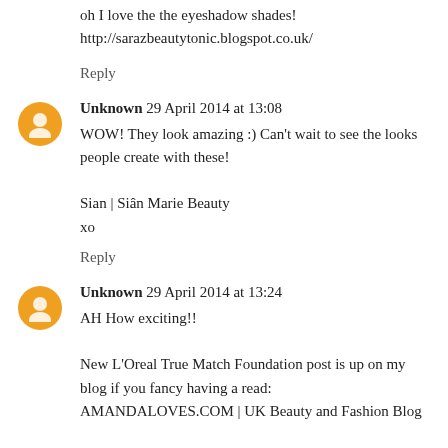oh I love the the eyeshadow shades!
http://sarazbeautytonic.blogspot.co.uk/
Reply
Unknown 29 April 2014 at 13:08
WOW! They look amazing :) Can't wait to see the looks people create with these!

Sian | Siân Marie Beauty
xo
Reply
Unknown 29 April 2014 at 13:24
AH How exciting!!

New L'Oreal True Match Foundation post is up on my blog if you fancy having a read:
AMANDALOVES.COM | UK Beauty and Fashion Blog